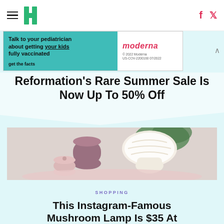HuffPost navigation with hamburger menu, logo, Facebook and Twitter icons
[Figure (infographic): Moderna advertisement: 'Talk to your pediatrician about getting your kids fully vaccinated' with Moderna logo, 'get the facts' CTA, teal background]
Reformation's Rare Summer Sale Is Now Up To 50% Off
[Figure (photo): Product lifestyle photo showing a white mushroom-shaped glass lamp glowing, with mauve ceramic vases and a green plant leaf in the background on a pink surface]
SHOPPING
This Instagram-Famous Mushroom Lamp Is $35 At